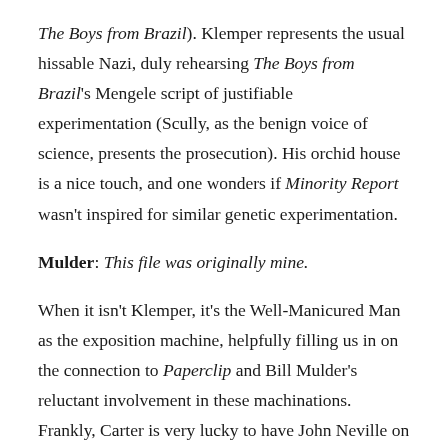The Boys from Brazil). Klemper represents the usual hissable Nazi, duly rehearsing The Boys from Brazil's Mengele script of justifiable experimentation (Scully, as the benign voice of science, presents the prosecution). His orchid house is a nice touch, and one wonders if Minority Report wasn't inspired for similar genetic experimentation.
Mulder: This file was originally mine.
When it isn't Klemper, it's the Well-Manicured Man as the exposition machine, helpfully filling us in on the connection to Paperclip and Bill Mulder's reluctant involvement in these machinations. Frankly, Carter is very lucky to have John Neville on board, as he innately lends a sense of considered purpose when his motivation is, frankly, thin. There are yet further layers here in the ongoing sister